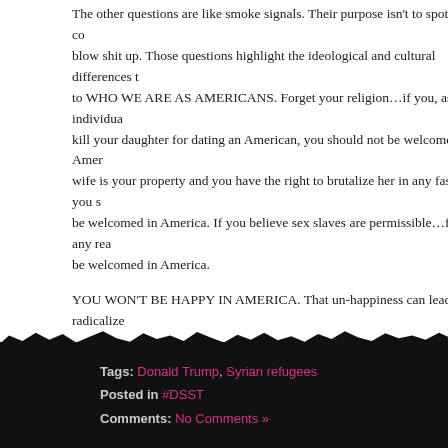The other questions are like smoke signals. Their purpose isn't to spot those co... blow shit up. Those questions highlight the ideological and cultural differences to WHO WE ARE AS AMERICANS. Forget your religion…if you, as an individu... kill your daughter for dating an American, you should not be welcomed in Amer... wife is your property and you have the right to brutalize her in any fashion you s... be welcomed in America. If you believe sex slaves are permissible…for any rea... be welcomed in America.
YOU WON'T BE HAPPY IN AMERICA. That un-happiness can lead to radicalize... of us wants that. If you want to live in the 13th century…then stay in Syria.
If they answer "I want to come to America to finally experience true Liberty and ... in…with the reminder, WE ARE AN ARMED, FREE SPEECH SOCIETY and we... you.
[Figure (other): Small broken image placeholder icon]
Tags: Donald Trump, Syrian refugees
Posted in #DSST
Comments: No Comments »